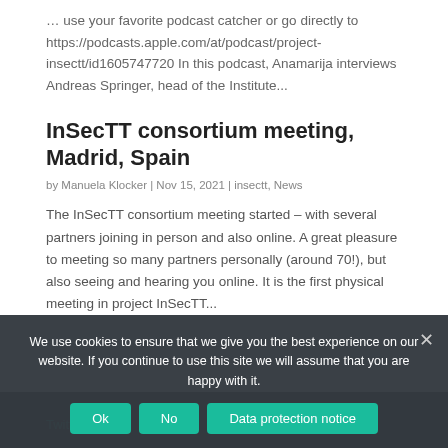… use your favorite podcast catcher or go directly to https://podcasts.apple.com/at/podcast/project-insectt/id1605747720 In this podcast, Anamarija interviews Andreas Springer, head of the Institute...
InSecTT consortium meeting, Madrid, Spain
by Manuela Klocker | Nov 15, 2021 | insectt, News
The InSecTT consortium meeting started – with several partners joining in person and also online. A great pleasure to meeting so many partners personally (around 70!), but also seeing and hearing you online. It is the first physical meeting in project InSecTT...
We use cookies to ensure that we give you the best experience on our website. If you continue to use this site we will assume that you are happy with it.
Twitter